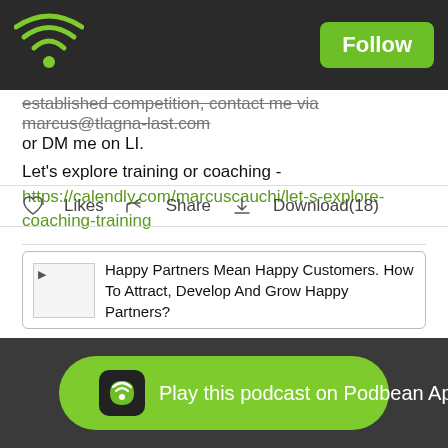Podbean app header with wifi logo and Follow button
established competition, contact me via marcus@tlagna-last.com or DM me on LI.
Let's explore training or coaching - https://calendly.com/marcuscauchi/let-s-explore-coaching-training
Hiring Winners - Predictive Hiring For Managers - https://calendly.com/marcuscauchi/hiring-winners
Likes  Share  Download(18)
[Figure (screenshot): Happy Partners Mean Happy Customers. How To Attract, Develop And Grow Happy Partners? podcast card]
Play this podcast on Podbean App